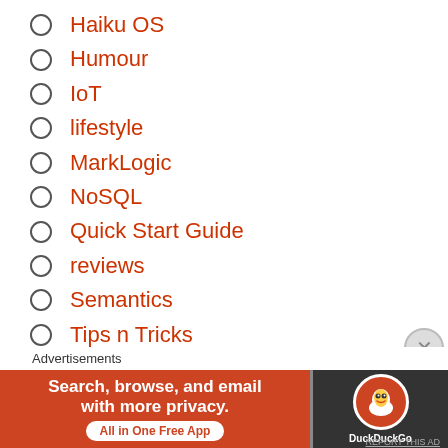Haiku OS
Humour
IoT
lifestyle
MarkLogic
NoSQL
Quick Start Guide
reviews
Semantics
Tips n Tricks
Uncategorized
Wellbeing
Advertisements
[Figure (other): DuckDuckGo advertisement banner: 'Search, browse, and email with more privacy. All in One Free App' with DuckDuckGo logo on dark background]